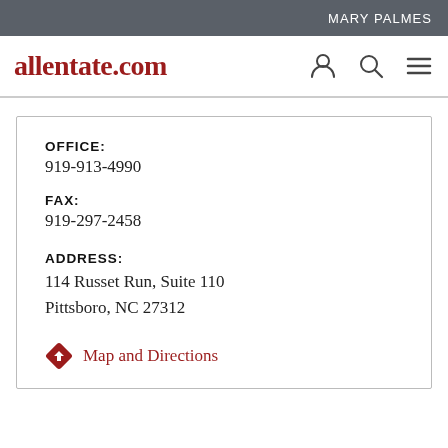MARY PALMES
allentate.com
OFFICE:
919-913-4990
FAX:
919-297-2458
ADDRESS:
114 Russet Run, Suite 110
Pittsboro, NC 27312
Map and Directions